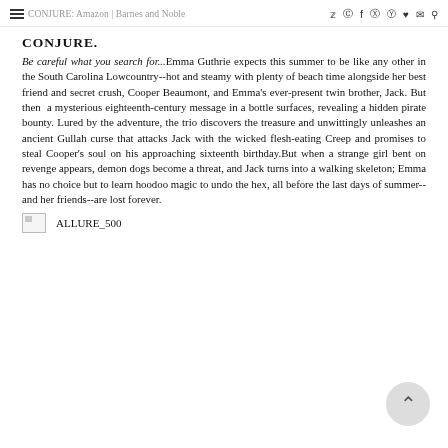CONJURE: Amazon | Barnes and Noble
CONJURE.
Be careful what you search for...Emma Guthrie expects this summer to be like any other in the South Carolina Lowcountry--hot and steamy with plenty of beach time alongside her best friend and secret crush, Cooper Beaumont, and Emma's ever-present twin brother, Jack. But then a mysterious eighteenth-century message in a bottle surfaces, revealing a hidden pirate bounty. Lured by the adventure, the trio discovers the treasure and unwittingly unleashes an ancient Gullah curse that attacks Jack with the wicked flesh-eating Creep and promises to steal Cooper's soul on his approaching sixteenth birthday.But when a strange girl bent on revenge appears, demon dogs become a threat, and Jack turns into a walking skeleton; Emma has no choice but to learn hoodoo magic to undo the hex, all before the last days of summer--and her friends--are lost forever.
ALLURE_500